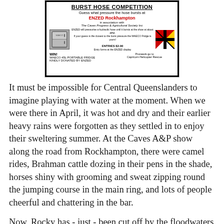[Figure (photo): A sign for the 'Burst Hose Competition' at ENZED Rockhampton, in association with The Caves Progress & Agricultural Society Inc. Entries $2.00. Win a WAECO 45L Portable Fridge kindly donated by ENZED. Proceeds go to Capricorn Helicopter Rescue. The sign features a small image of a portable fridge and a diagonal striped flag graphic.]
It must be impossible for Central Queenslanders to imagine playing with water at the moment. When we were there in April, it was hot and dry and their earlier heavy rains were forgotten as they settled in to enjoy their sweltering summer. At the Caves A&P show along the road from Rockhampton, there were camel rides, Brahman cattle dozing in their pens in the shade, horses shiny with grooming and sweat zipping round the jumping course in the main ring, and lots of people cheerful and chattering in the bar.
Now, Rocky has - just - been cut off by the floodwaters that have been working their way down the Fitzroy River from inland where they've had quite incredibly massive flooding: an area larger than the UK and France put together. Of course, Queensland is such a huge state that there are still plenty of people with the feet dry, but the consequences are